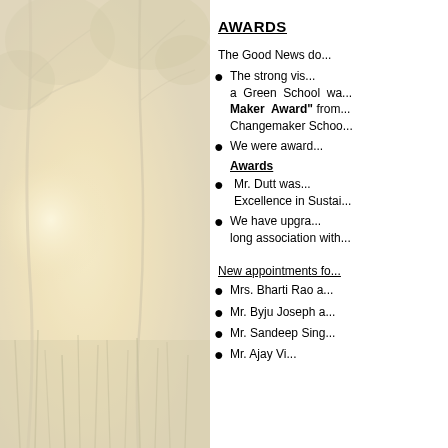[Figure (photo): Misty morning nature scene with trees and tall grass in soft golden light]
AWARDS
The Good News do...
The strong vis... a Green School wa... "Maker Award" from... Changemaker Schoo...
We were award...
Awards
Mr. Dutt was... Excellence in Sustai...
We have upgra... long association with...
New appointments fo...
Mrs. Bharti Rao a...
Mr. Byju Joseph a...
Mr. Sandeep Sing...
Mr. Ajay Vi...